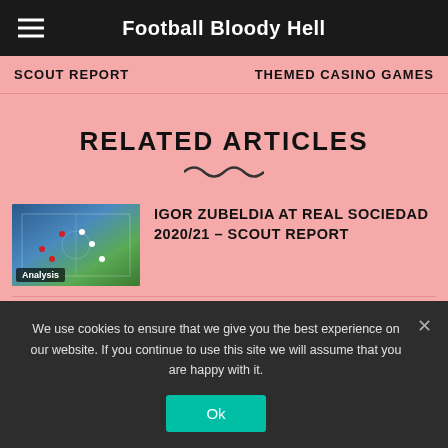Football Bloody Hell
SCOUT REPORT   THEMED CASINO GAMES
RELATED ARTICLES
[Figure (photo): Football match aerial view thumbnail with Analysis tag]
IGOR ZUBELDIA AT REAL SOCIEDAD 2020/21 – SCOUT REPORT
[Figure (photo): Football match thumbnail]
DAVID STRELEC 2020/21 – SCOUT REPORT
We use cookies to ensure that we give you the best experience on our website. If you continue to use this site we will assume that you are happy with it.